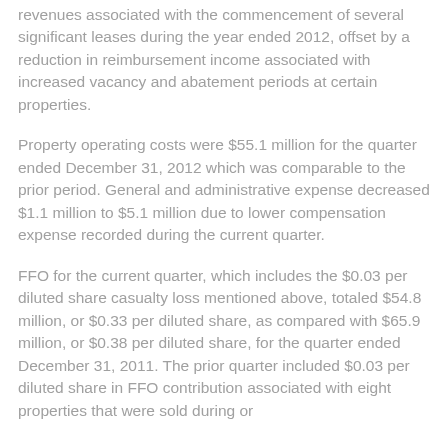revenues associated with the commencement of several significant leases during the year ended 2012, offset by a reduction in reimbursement income associated with increased vacancy and abatement periods at certain properties.
Property operating costs were $55.1 million for the quarter ended December 31, 2012 which was comparable to the prior period. General and administrative expense decreased $1.1 million to $5.1 million due to lower compensation expense recorded during the current quarter.
FFO for the current quarter, which includes the $0.03 per diluted share casualty loss mentioned above, totaled $54.8 million, or $0.33 per diluted share, as compared with $65.9 million, or $0.38 per diluted share, for the quarter ended December 31, 2011. The prior quarter included $0.03 per diluted share in FFO contribution associated with eight properties that were sold during or